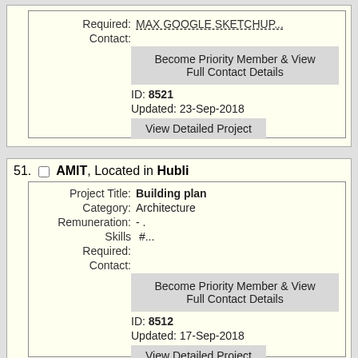Required: MAX GOOGLE SKETCHUP... Contact: Become Priority Member & View Full Contact Details ID: 8521 Updated: 23-Sep-2018 View Detailed Project
51. AMIT, Located in Hubli
Project Title: Building plan Category: Architecture Remuneration: - . Skills Required: #... Contact: Become Priority Member & View Full Contact Details ID: 8512 Updated: 17-Sep-2018 View Detailed Project